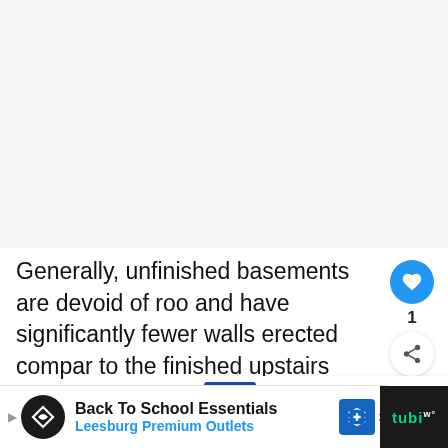[Figure (other): Blank/white top area of a web page, likely where an image or video would be displayed above article text.]
Generally, unfinished basements are devoid of roo and have significantly fewer walls erected compar to the finished upstairs levels. These spa as they have less wall space to soundproof when setting up the recording studio.
[Figure (other): What's Next overlay card showing a thumbnail (dark blue with LED lighting), label 'WHAT'S NEXT →', and title 'How Do You Make LED...']
[Figure (other): Advertisement bar at the bottom: Back To School Essentials - Leesburg Premium Outlets, with logo icons and navigation icon. Right side is a dark bar with Tubi logo.]